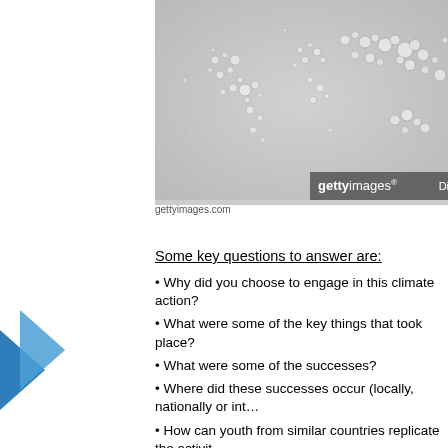[Figure (photo): Close-up photo of water droplets arranged in a world map pattern on a grey surface. Getty Images watermark and credit: DigitalVision | Hiroshi Watanabe.]
gettyimages.com
Some key questions to answer are:
Why did you choose to engage in this climate action?
What were some of the key things that took place?
What were some of the successes?
Where did these successes occur (locally, nationally or int…
How can youth from similar countries replicate the activit…
Each winner will receive:
round trip to COP21/CMP11 in Paris, France from 30 No… accommodation and other expenses),